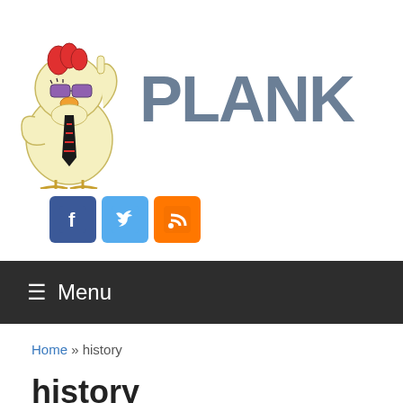[Figure (logo): Plank website logo with cartoon chicken mascot wearing sunglasses and tie with PLANK text]
[Figure (infographic): Social media icons: Facebook (blue), Twitter (light blue), RSS (orange)]
≡ Menu
Home » history
history